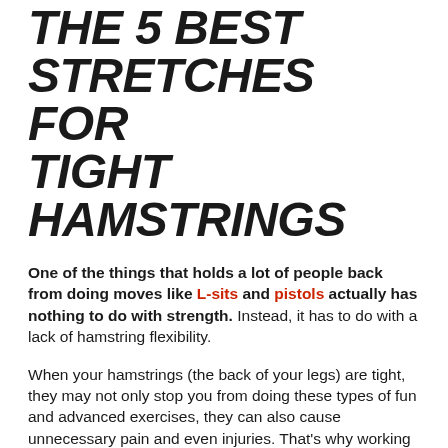THE 5 BEST STRETCHES FOR TIGHT HAMSTRINGS
One of the things that holds a lot of people back from doing moves like L-sits and pistols actually has nothing to do with strength. Instead, it has to do with a lack of hamstring flexibility.
When your hamstrings (the back of your legs) are tight, they may not only stop you from doing these types of fun and advanced exercises, they can also cause unnecessary pain and even injuries. That's why working on your hamstring flexibility and foam rolling on a regular basis is so important—especially if you work out a lot like I do.
If you hate and/or procrastinate stretching on a regular basis, trust me, I understand. Stretching is not something I look forward to, partly because it just plain hurts! But, it's incredibly important to do to keep your muscles healthy and injury-free, and will definitely help you improve at certain exercises